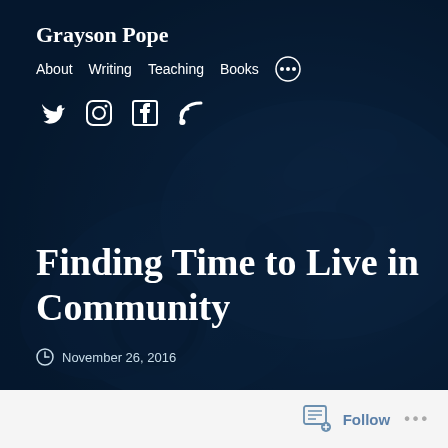Grayson Pope
About   Writing   Teaching   Books   •••
[Figure (illustration): Social media icons: Twitter bird, Instagram camera, Facebook F, RSS feed symbol — white icons on dark background]
[Figure (photo): Dark blue-tinted background photo of clasped hands with a wristwatch, overlaid with dark navy semi-transparent color wash]
Finding Time to Live in Community
November 26, 2016
Follow   •••